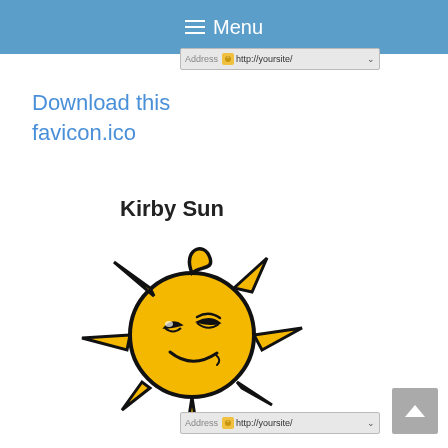≡ Menu
[Figure (screenshot): Browser address bar showing http://yoursite/]
Download this favicon.ico
Kirby Sun
[Figure (illustration): Cartoon sun character called Kirby Sun with a smirking face, yellow round body, multiple pointed rays, and a curved horn on top, drawn in black outline on white background]
[Figure (screenshot): Browser address bar showing http://yoursite/ at bottom of page]